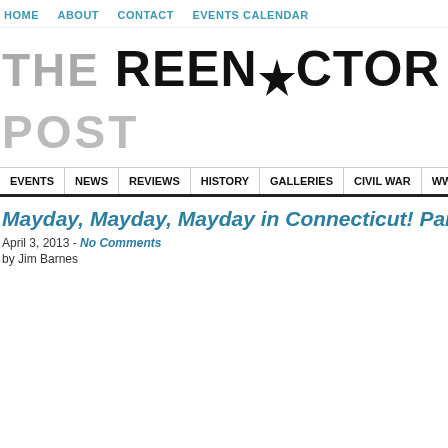HOME   ABOUT   CONTACT   EVENTS CALENDAR
THE REENACTOR POST
EVENTS   NEWS   REVIEWS   HISTORY   GALLERIES   CIVIL WAR   WW
Mayday, Mayday, Mayday in Connecticut! Part II
April 3, 2013 - No Comments
by Jim Barnes